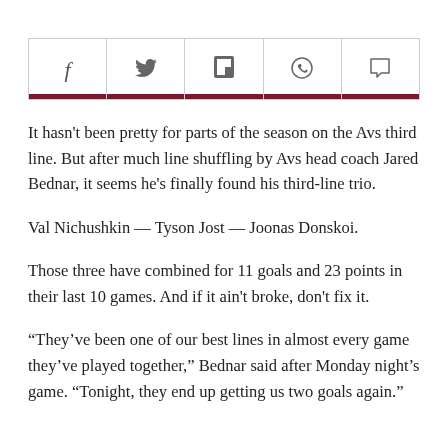[Figure (other): Social media share buttons: Facebook (f), Twitter (bird), Flipboard (F), WhatsApp (phone), Comment (speech bubble), each with a dark red bottom bar]
It hasn't been pretty for parts of the season on the Avs third line. But after much line shuffling by Avs head coach Jared Bednar, it seems he's finally found his third-line trio.
Val Nichushkin — Tyson Jost — Joonas Donskoi.
Those three have combined for 11 goals and 23 points in their last 10 games. And if it ain't broke, don't fix it.
“They’ve been one of our best lines in almost every game they’ve played together,” Bednar said after Monday night’s game. “Tonight, they end up getting us two goals again.”